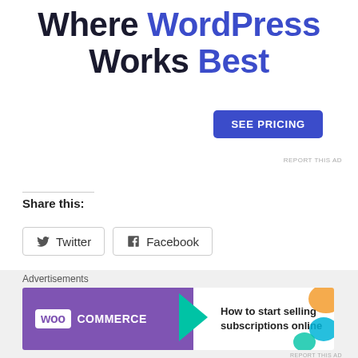Where WordPress Works Best
[Figure (other): SEE PRICING button — blue rounded rectangle with white uppercase text]
REPORT THIS AD
Share this:
[Figure (other): Twitter and Facebook share buttons with icons]
Like this:
Loading...
[Figure (other): WooCommerce advertisement banner: How to start selling subscriptions online]
Advertisements
REPORT THIS AD